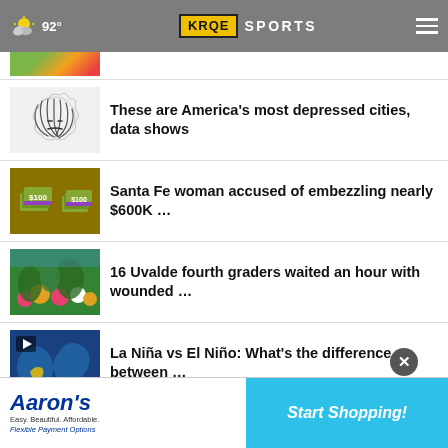92° KRQE SPORTS
[Figure (screenshot): Partial thumbnail image at top, cropped]
These are America's most depressed cities, data shows
Santa Fe woman accused of embezzling nearly $600K …
16 Uvalde fourth graders waited an hour with wounded …
La Niña vs El Niño: What's the difference between …
Chester's Pick 6: The top 6 plays or players from …
Football season
[Figure (screenshot): Aaron's advertisement banner: Easy. Beautiful. Affordable. Flexible Payment Options — Start Shopping!]